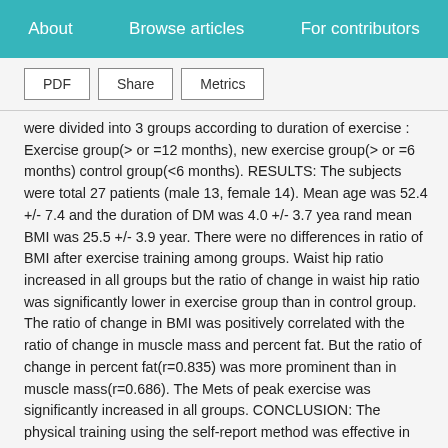About   Browse articles   For contributors
PDF   Share   Metrics
were divided into 3 groups according to duration of exercise : Exercise group(> or =12 months), new exercise group(> or =6 months) control group(<6 months). RESULTS: The subjects were total 27 patients (male 13, female 14). Mean age was 52.4 +/- 7.4 and the duration of DM was 4.0 +/- 3.7 yea rand mean BMI was 25.5 +/- 3.9 year. There were no differences in ratio of BMI after exercise training among groups. Waist hip ratio increased in all groups but the ratio of change in waist hip ratio was significantly lower in exercise group than in control group. The ratio of change in BMI was positively correlated with the ratio of change in muscle mass and percent fat. But the ratio of change in percent fat(r=0.835) was more prominent than in muscle mass(r=0.686). The Mets of peak exercise was significantly increased in all groups. CONCLUSION: The physical training using the self-report method was effective in